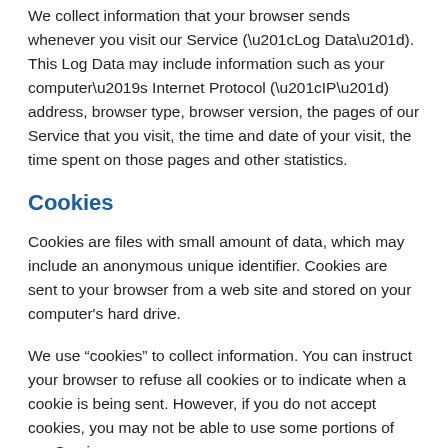We collect information that your browser sends whenever you visit our Service (“Log Data”). This Log Data may include information such as your computer’s Internet Protocol (“IP”) address, browser type, browser version, the pages of our Service that you visit, the time and date of your visit, the time spent on those pages and other statistics.
Cookies
Cookies are files with small amount of data, which may include an anonymous unique identifier. Cookies are sent to your browser from a web site and stored on your computer’s hard drive.
We use “cookies” to collect information. You can instruct your browser to refuse all cookies or to indicate when a cookie is being sent. However, if you do not accept cookies, you may not be able to use some portions of our Service.
Service Providers